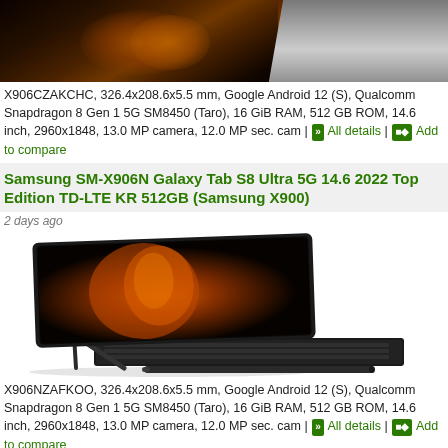[Figure (photo): Partial view of Samsung Galaxy Tab S8 Ultra tablet from top, dark background]
X906CZAKCHC, 326.4x208.6x5.5 mm, Google Android 12 (S), Qualcomm Snapdragon 8 Gen 1 5G SM8450 (Taro), 16 GiB RAM, 512 GB ROM, 14.6 inch, 2960x1848, 13.0 MP camera, 12.0 MP sec. cam | All details | Add to compare
Samsung SM-X906N Galaxy Tab S8 Ultra 5G 14.6 2022 Top Edition TD-LTE KR 512GB (Samsung X900)
2 days ago
[Figure (photo): Samsung Galaxy Tab S8 Ultra tablet propped up on kickstand with keyboard cover and stylus pen in front, dark graphite color]
X906NZAFKOO, 326.4x208.6x5.5 mm, Google Android 12 (S), Qualcomm Snapdragon 8 Gen 1 5G SM8450 (Taro), 16 GiB RAM, 512 GB ROM, 14.6 inch, 2960x1848, 13.0 MP camera, 12.0 MP sec. cam | All details | Add to compare